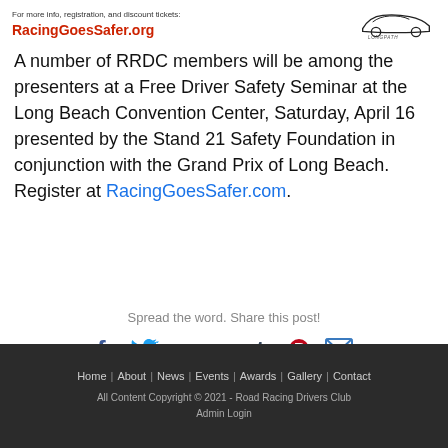For more info, registration, and discount tickets: RacingGoesSafer.org
A number of RRDC members will be among the presenters at a Free Driver Safety Seminar at the Long Beach Convention Center, Saturday, April 16 presented by the Stand 21 Safety Foundation in conjunction with the Grand Prix of Long Beach. Register at RacingGoesSafer.com.
Spread the word. Share this post!
[Figure (infographic): Social share icons: Facebook, Twitter, Google+, LinkedIn, Tumblr, Pinterest, Email]
Home | About | News | Events | Awards | Gallery | Contact
All Content Copyright © 2021 - Road Racing Drivers Club
Admin Login